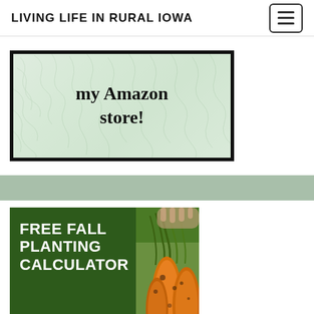LIVING LIFE IN RURAL IOWA
[Figure (illustration): Amazon store promotional banner with decorative leaf/floral pattern background and text 'my Amazon store!']
[Figure (illustration): Free Fall Planting Calculator promotional image with dark green background text on left and photo of freshly harvested carrots on right]